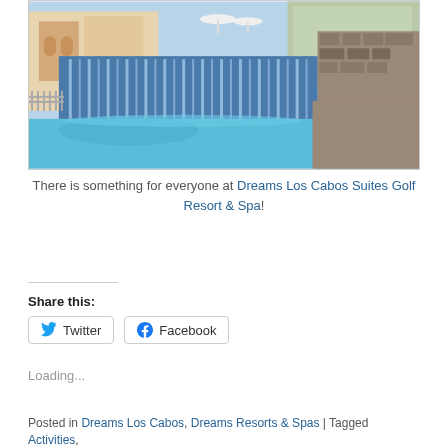[Figure (photo): Resort pool with waterfall feature, stone wall on right, hotel buildings in background under sunny sky]
There is something for everyone at Dreams Los Cabos Suites Golf Resort & Spa!
Continue reading →
Share this:
Loading...
Posted in Dreams Los Cabos, Dreams Resorts & Spas | Tagged Activities,